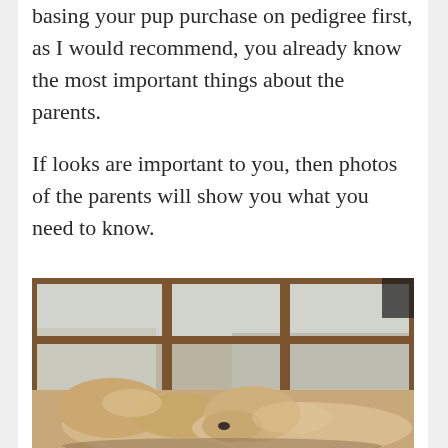basing your pup purchase on pedigree first, as I would recommend, you already know the most important things about the parents.
If looks are important to you, then photos of the parents will show you what you need to know.
[Figure (photo): Two golden/yellow Labrador puppies sleeping curled up together on a cushion or bed in front of a wooden-framed window showing a snowy outdoor scene outside.]